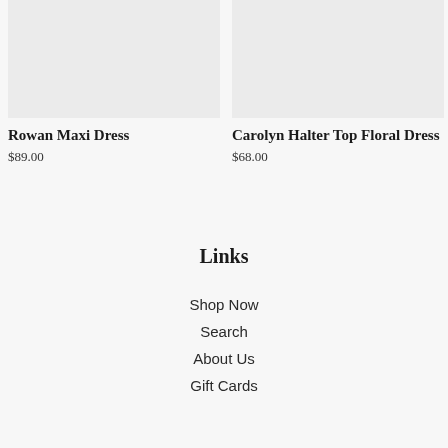[Figure (photo): Product image placeholder for Rowan Maxi Dress, light gray background]
Rowan Maxi Dress
$89.00
[Figure (photo): Product image placeholder for Carolyn Halter Top Floral Dress, light gray background]
Carolyn Halter Top Floral Dress
$68.00
Links
Shop Now
Search
About Us
Gift Cards